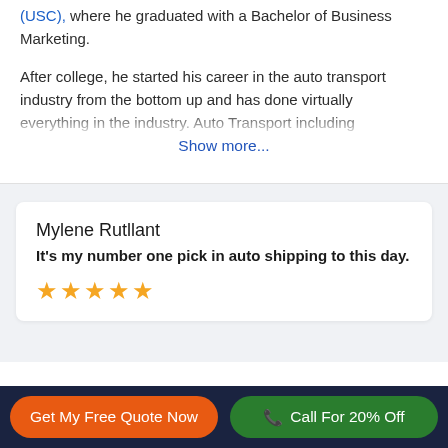(USC), where he graduated with a Bachelor of Business Marketing.
After college, he started his career in the auto transport industry from the bottom up and has done virtually [faded/truncated text]
Show more...
Mylene Rutllant
It's my number one pick in auto shipping to this day.
[Figure (other): Five gold star rating icons]
Get My Free Quote Now
Call For 20% Off